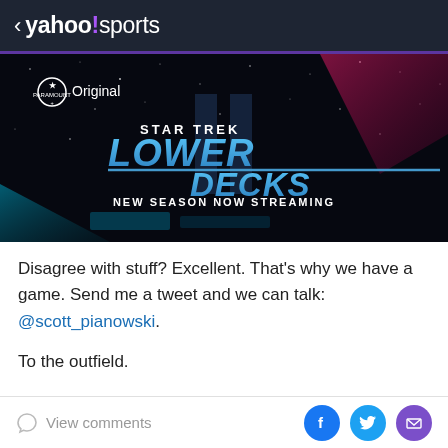< yahoo!sports
[Figure (photo): Star Trek Lower Decks Season 4 promotional banner ad for Paramount+ Original. Dark space background with blue stylized 'STAR TREK LOWER DECKS' logo and text 'NEW SEASON NOW STREAMING'. Purple/pink light streaks across the image.]
Disagree with stuff? Excellent. That's why we have a game. Send me a tweet and we can talk: @scott_pianowski.
To the outfield.
View comments  [Facebook] [Twitter] [Email]